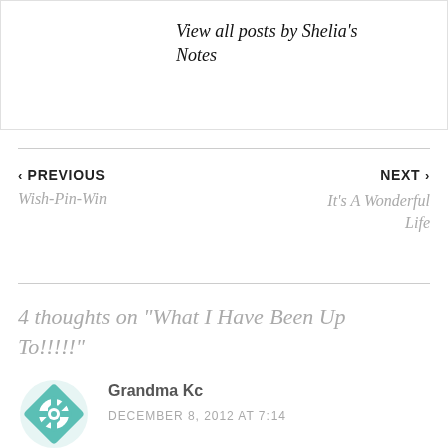View all posts by Shelia's Notes
‹ PREVIOUS
Wish-Pin-Win
NEXT ›
It's A Wonderful Life
4 thoughts on "What I Have Been Up To!!!!!"
Grandma Kc
DECEMBER 8, 2012 AT 7:14